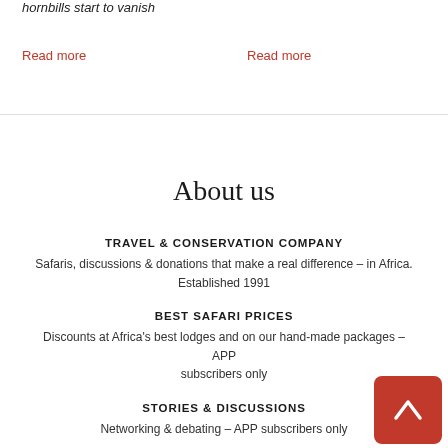hornbills start to vanish
Read more
Read more
About us
TRAVEL & CONSERVATION COMPANY
Safaris, discussions & donations that make a real difference – in Africa. Established 1991
BEST SAFARI PRICES
Discounts at Africa's best lodges and on our hand-made packages – APP subscribers only
STORIES & DISCUSSIONS
Networking & debating – APP subscribers only
TRUSTED CONSERVATION PROJECTS
Carefully selected conservation projects – one-stop, seamless, transparent donations – APP subscribers only